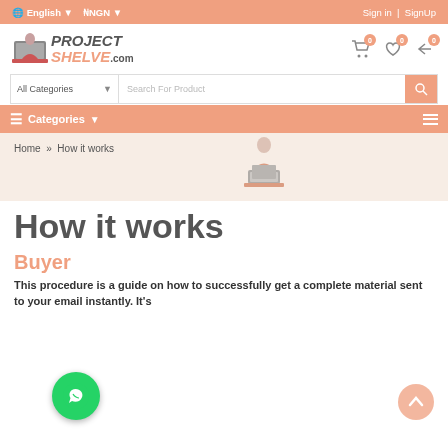English | NNGN | Sign in | SignUp
[Figure (logo): ProjectShelve.com logo with woman at laptop icon]
All Categories — Search For Product
Categories
Home » How it works
How it works
Buyer
This procedure is a guide on how to successfully get a complete material sent to your email instantly. It's